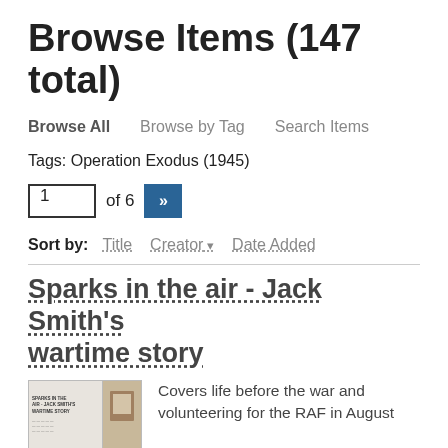Browse Items (147 total)
Browse All | Browse by Tag | Search Items
Tags: Operation Exodus (1945)
1 of 6 »
Sort by: Title Creator Date Added
Sparks in the air - Jack Smith's wartime story
[Figure (photo): Thumbnail image of a book cover for 'Sparks in the air - Jack Smith's wartime story']
Covers life before the war and volunteering for the RAF in August